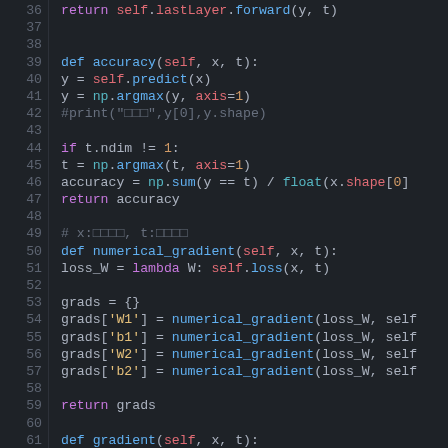[Figure (screenshot): Python source code editor screenshot showing lines 36-65 of a neural network class with syntax highlighting on a dark background. Code includes methods: accuracy, numerical_gradient, and gradient.]